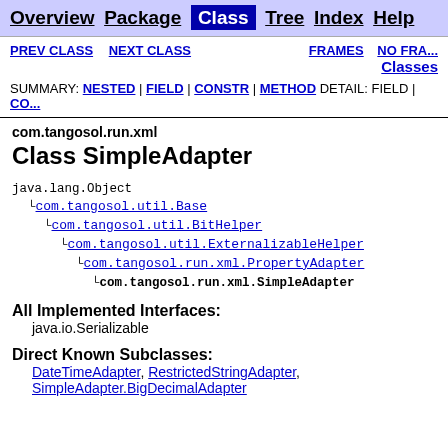Overview | Package | Class | Tree | Index | Help
PREV CLASS  NEXT CLASS  FRAMES  NO FRAMES  Classes
SUMMARY: NESTED | FIELD | CONSTR | METHOD DETAIL: FIELD | CO...
com.tangosol.run.xml
Class SimpleAdapter
java.lang.Object
  com.tangosol.util.Base
    com.tangosol.util.BitHelper
      com.tangosol.util.ExternalizableHelper
        com.tangosol.run.xml.PropertyAdapter
          com.tangosol.run.xml.SimpleAdapter
All Implemented Interfaces:
    java.io.Serializable
Direct Known Subclasses:
    DateTimeAdapter, RestrictedStringAdapter,
    SimpleAdapter.BigDecimalAdapter